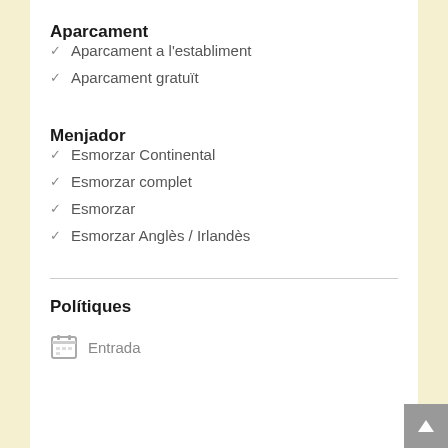Aparcament
Aparcament a l'establiment
Aparcament gratuït
Menjador
Esmorzar Continental
Esmorzar complet
Esmorzar
Esmorzar Anglès / Irlandès
Polítiques
Entrada